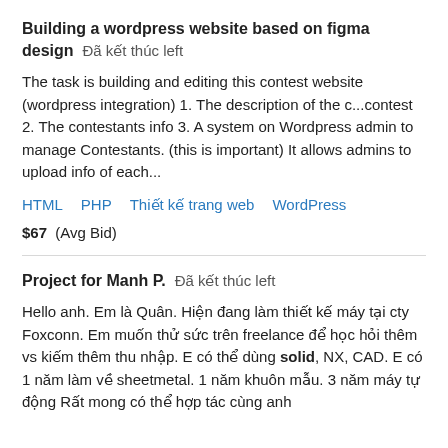Building a wordpress website based on figma design  Đã kết thúc left
The task is building and editing this contest website (wordpress integration) 1. The description of the c...contest 2. The contestants info 3. A system on Wordpress admin to manage Contestants. (this is important) It allows admins to upload info of each...
HTML  PHP  Thiết kế trang web  WordPress
$67  (Avg Bid)
Project for Manh P.  Đã kết thúc left
Hello anh. Em là Quân. Hiện đang làm thiết kế máy tại cty Foxconn. Em muốn thử sức trên freelance để học hỏi thêm vs kiếm thêm thu nhập. E có thể dùng solid, NX, CAD. E có 1 năm làm về sheetmetal. 1 năm khuôn mẫu. 3 năm máy tự động Rất mong có thể hợp tác cùng anh